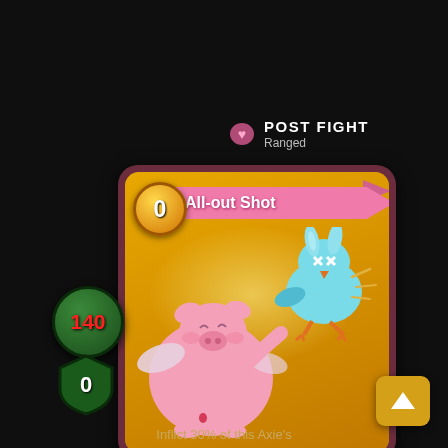POST FIGHT
Ranged
[Figure (illustration): Game card for 'All-out Shot' showing a pink pig with wings punching a blue bird. Card has cost 0, attack 140, defense 0. Pink banner with card title, golden yellow card background.]
Inflict 30% of this Axie's